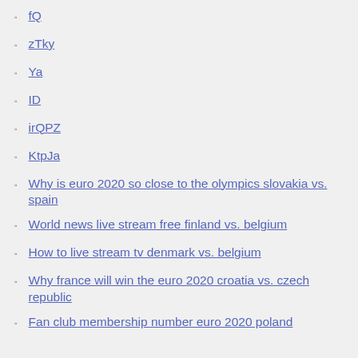fQ
zTky
Ya
ID
irQPZ
KtpJa
Why is euro 2020 so close to the olympics slovakia vs. spain
World news live stream free finland vs. belgium
How to live stream tv denmark vs. belgium
Why france will win the euro 2020 croatia vs. czech republic
Fan club membership number euro 2020 poland